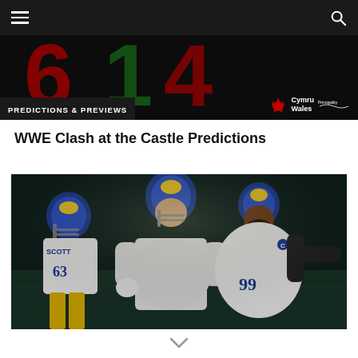Navigation bar with hamburger menu and search icon
[Figure (screenshot): Dark banner with large red/green number graphic and Cymru Wales / Principality logos in bottom right]
PREDICTIONS & PREVIEWS
WWE Clash at the Castle Predictions
[Figure (photo): NFL players in Los Angeles Rams uniforms (blue/yellow helmets) celebrating on field. Players include SCOTT #63 and player #99, embracing in celebration.]